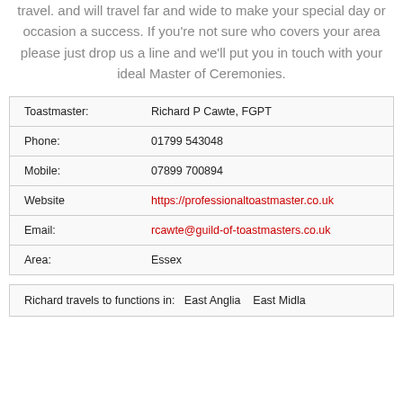travel. and will travel far and wide to make your special day or occasion a success. If you're not sure who covers your area please just drop us a line and we'll put you in touch with your ideal Master of Ceremonies.
| Field | Value |
| --- | --- |
| Toastmaster: | Richard P Cawte, FGPT |
| Phone: | 01799 543048 |
| Mobile: | 07899 700894 |
| Website | https://professionaltoastmaster.co.uk |
| Email: | rcawte@guild-of-toastmasters.co.uk |
| Area: | Essex |
Richard travels to functions in: East Anglia  East Midla